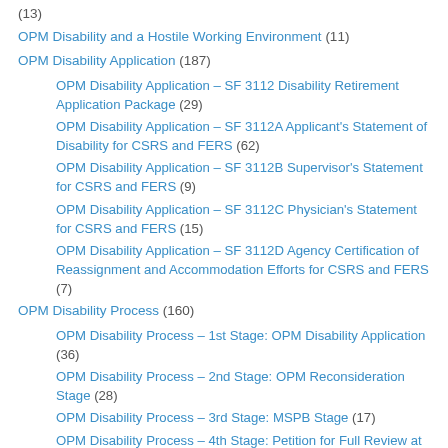(13)
OPM Disability and a Hostile Working Environment (11)
OPM Disability Application (187)
OPM Disability Application – SF 3112 Disability Retirement Application Package (29)
OPM Disability Application – SF 3112A Applicant's Statement of Disability for CSRS and FERS (62)
OPM Disability Application – SF 3112B Supervisor's Statement for CSRS and FERS (9)
OPM Disability Application – SF 3112C Physician's Statement for CSRS and FERS (15)
OPM Disability Application – SF 3112D Agency Certification of Reassignment and Accommodation Efforts for CSRS and FERS (7)
OPM Disability Process (160)
OPM Disability Process – 1st Stage: OPM Disability Application (36)
OPM Disability Process – 2nd Stage: OPM Reconsideration Stage (28)
OPM Disability Process – 3rd Stage: MSPB Stage (17)
OPM Disability Process – 4th Stage: Petition for Full Review at the MSPB (4)